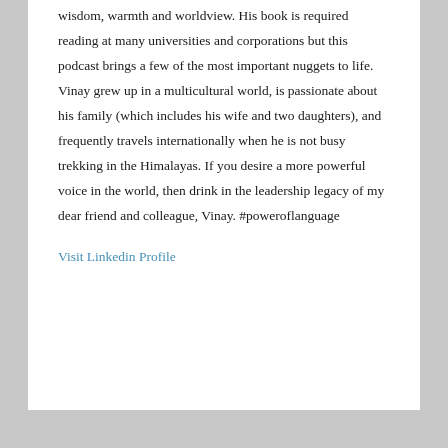wisdom, warmth and worldview. His book is required reading at many universities and corporations but this podcast brings a few of the most important nuggets to life. Vinay grew up in a multicultural world, is passionate about his family (which includes his wife and two daughters), and frequently travels internationally when he is not busy trekking in the Himalayas. If you desire a more powerful voice in the world, then drink in the leadership legacy of my dear friend and colleague, Vinay. #poweroflanguage
Visit Linkedin Profile